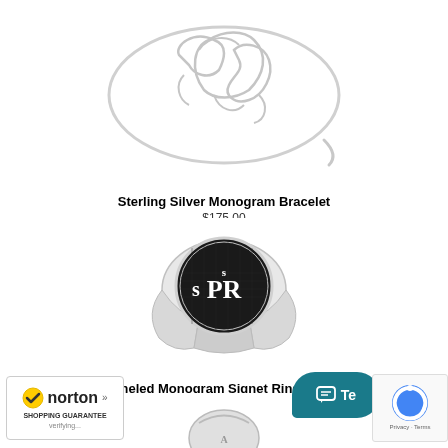[Figure (photo): Sterling silver monogram bangle bracelet with decorative script monogram letters on a white background]
Sterling Silver Monogram Bracelet
$175.00
[Figure (photo): Men's enameled monogram signet ring in sterling silver with black enamel background and white block letters SPR]
Men's Enameled Monogram Signet Ring, Sterling Silver
$125.00
[Figure (photo): Partial view of a third jewelry product at the bottom of the page]
[Figure (logo): Norton Shopping Guarantee badge with checkmark]
[Figure (other): Live chat button overlay]
[Figure (other): reCAPTCHA privacy box with Google logo]